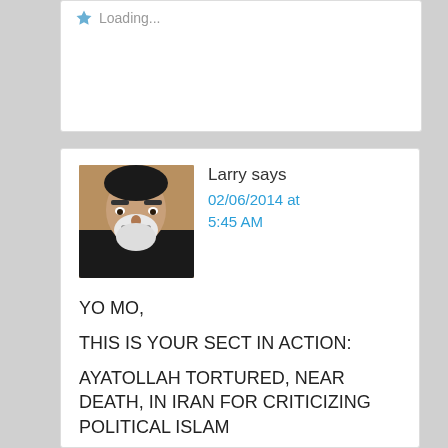[Figure (screenshot): Loading indicator with blue star icon and 'Loading...' text in a white card]
Larry says
02/06/2014 at 5:45 AM
YO MO,

THIS IS YOUR SECT IN ACTION:

AYATOLLAH TORTURED, NEAR DEATH, IN IRAN FOR CRITICIZING POLITICAL ISLAM